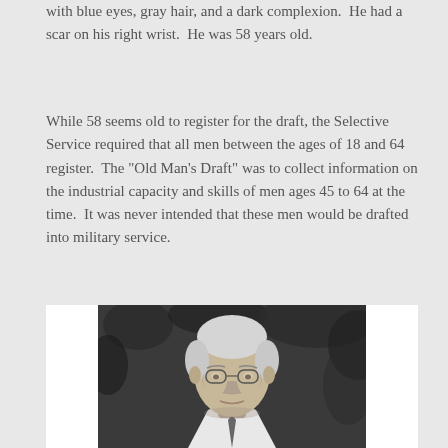with blue eyes, gray hair, and a dark complexion.  He had a scar on his right wrist.  He was 58 years old.
While 58 seems old to register for the draft, the Selective Service required that all men between the ages of 18 and 64 register.  The "Old Man's Draft" was to collect information on the industrial capacity and skills of men ages 45 to 64 at the time.  It was never intended that these men would be drafted into military service.
[Figure (photo): Black and white photograph of an elderly man with gray hair, wearing glasses, formal attire, with foliage in the background.]